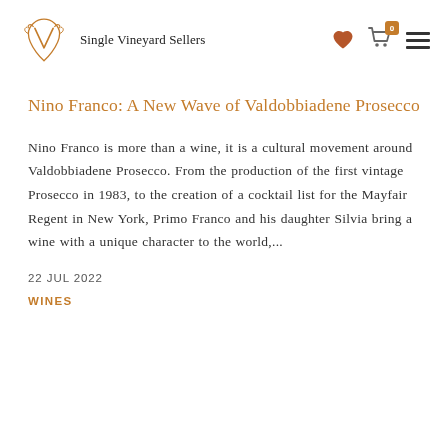Single Vineyard Sellers
Nino Franco: A New Wave of Valdobbiadene Prosecco
Nino Franco is more than a wine, it is a cultural movement around Valdobbiadene Prosecco. From the production of the first vintage Prosecco in 1983, to the creation of a cocktail list for the Mayfair Regent in New York, Primo Franco and his daughter Silvia bring a wine with a unique character to the world,...
22 JUL 2022
WINES